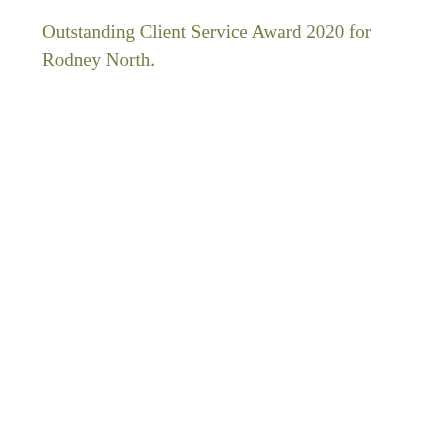Outstanding Client Service Award 2020 for Rodney North.